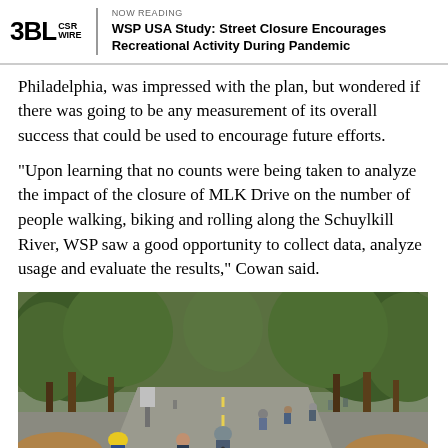3BL CSR WIRE | NOW READING | WSP USA Study: Street Closure Encourages Recreational Activity During Pandemic
Philadelphia, was impressed with the plan, but wondered if there was going to be any measurement of its overall success that could be used to encourage future efforts.
“Upon learning that no counts were being taken to analyze the impact of the closure of MLK Drive on the number of people walking, biking and rolling along the Schuylkill River, WSP saw a good opportunity to collect data, analyze usage and evaluate the results,” Cowan said.
[Figure (photo): People cycling and walking on a tree-lined road with autumn leaves on the ground. Multiple cyclists and pedestrians are visible on the road surface which has a yellow center line.]